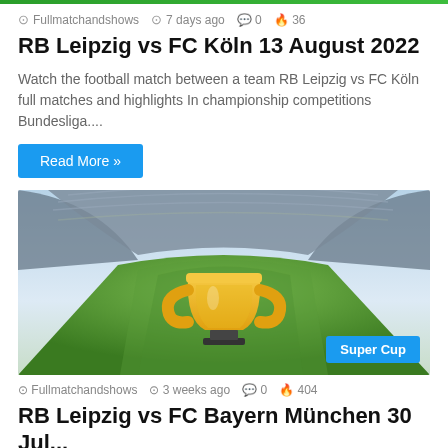Fullmatchandshows  7 days ago  0  36
RB Leipzig vs FC Köln 13 August 2022
Watch the football match between a team RB Leipzig vs FC Köln full matches and highlights In championship competitions Bundesliga....
Read More »
[Figure (photo): Stadium aerial view with a large golden trophy emoji in the center, green pitch visible, stands full of seats. A blue 'Super Cup' badge is in the bottom-right corner.]
Fullmatchandshows  3 weeks ago  0  404
RB Leipzig vs FC Bayern München 30 Jul...